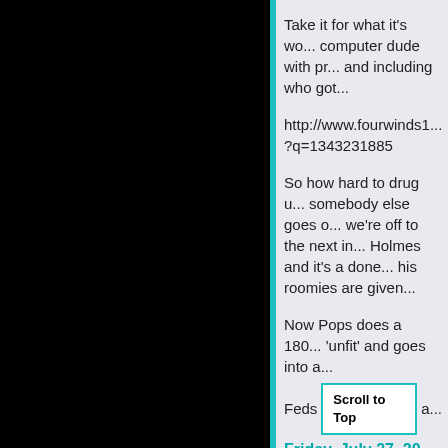Take it for what it's wo... computer dude with pr... and including who got...
http://www.fourwinds1... ?q=1343231885
So how hard to drug u... somebody else goes o... we're off to the next in... Holmes and it's a done... his roomies are given...
Now Pops does a 180... 'unfit' and goes into a... Feds... a...
Scroll to Top
Friday, July 27, 20...